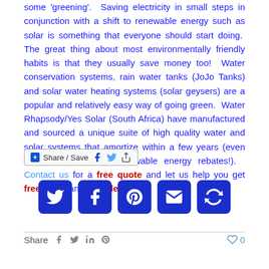some 'greening'. Saving electricity in small steps in conjunction with a shift to renewable energy such as solar is something that everyone should start doing. The great thing about most environmentally friendly habits is that they usually save money too! Water conservation systems, rain water tanks (JoJo Tanks) and solar water heating systems (solar geysers) are a popular and relatively easy way of going green. Water Rhapsody/Yes Solar (South Africa) have manufactured and sourced a unique suite of high quality water and solar systems that amortize within a few years (even quicker with Eskom renewable energy rebates!). Contact us for a free quote and let us help you get free water and free electricity!
[Figure (infographic): Share/Save button with Facebook, Twitter, and share icons]
[Figure (infographic): Social media icon buttons: Twitter, Facebook, Pinterest, Email, and share icon]
[Figure (infographic): Bottom share bar with Share label, social icons (Facebook, Twitter, LinkedIn, Pinterest) and heart/like counter showing 0]